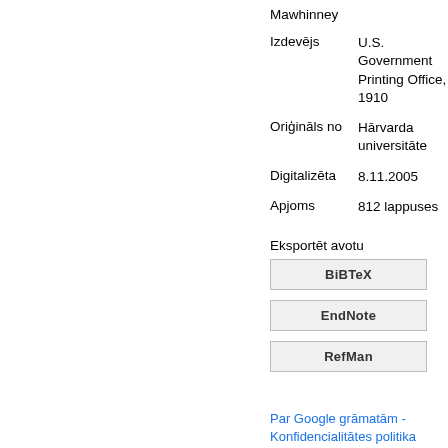Mawhinney
Izdevējs
U.S. Government Printing Office, 1910
Oriģināls no
Hārvarda universitāte
Digitalizēta
8.11.2005
Apjoms
812 lappuses
Eksportēt avotu
BiBTeX
EndNote
RefMan
Par Google grāmatām - Konfidencialitātes politika